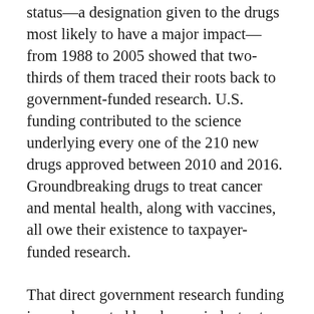status—a designation given to the drugs most likely to have a major impact—from 1988 to 2005 showed that two-thirds of them traced their roots back to government-funded research. U.S. funding contributed to the science underlying every one of the 210 new drugs approved between 2010 and 2016. Groundbreaking drugs to treat cancer and mental health, along with vaccines, all owe their existence to taxpayer-funded research.
That direct government research funding is supplemented by pharma industry tax credits that can reach as high as 50 percent of research costs, plus the government's role as the bulk purchaser of its products. Altogether, some